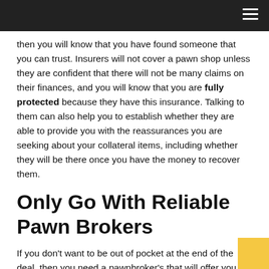then you will know that you have found someone that you can trust. Insurers will not cover a pawn shop unless they are confident that there will not be many claims on their finances, and you will know that you are fully protected because they have this insurance. Talking to them can also help you to establish whether they are able to provide you with the reassurances you are seeking about your collateral items, including whether they will be there once you have the money to recover them.
Only Go With Reliable Pawn Brokers
If you don't want to be out of pocket at the end of the deal, then you need a pawnbroker's that will offer you security, and that has an established reputation. We have been operating for more than 70 years, and our Pawn shop in Santa Monica Boulevard is there to make sure that you get the service you require. To protect yourself and the items